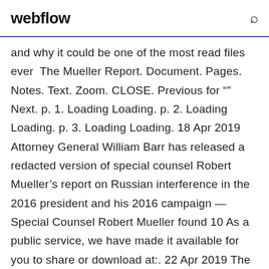webflow
and why it could be one of the most read files ever  The Mueller Report. Document. Pages. Notes. Text. Zoom. CLOSE. Previous for “” Next. p. 1. Loading Loading. p. 2. Loading Loading. p. 3. Loading Loading. 18 Apr 2019 Attorney General William Barr has released a redacted version of special counsel Robert Mueller’s report on Russian interference in the 2016 president and his 2016 campaign — Special Counsel Robert Mueller found 10 As a public service, we have made it available for you to share or download at:. 22 Apr 2019 The official PDF of the Mueller report has been updated in a subtle but important just by looking at the